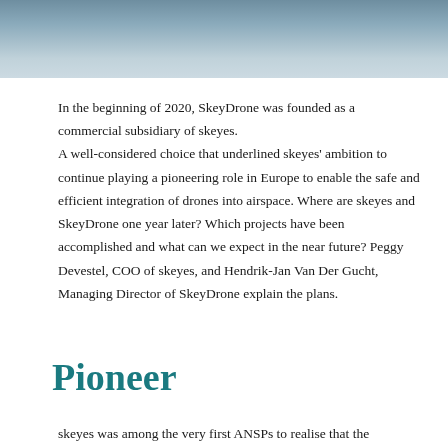[Figure (photo): Aerial or waterside landscape photo showing water surface with light reflections, cropped at top of page]
In the beginning of 2020, SkeyDrone was founded as a commercial subsidiary of skeyes. A well-considered choice that underlined skeyes' ambition to continue playing a pioneering role in Europe to enable the safe and efficient integration of drones into airspace. Where are skeyes and SkeyDrone one year later? Which projects have been accomplished and what can we expect in the near future? Peggy Devestel, COO of skeyes, and Hendrik-Jan Van Der Gucht, Managing Director of SkeyDrone explain the plans.
Pioneer
skeyes was among the very first ANSPs to realise that the